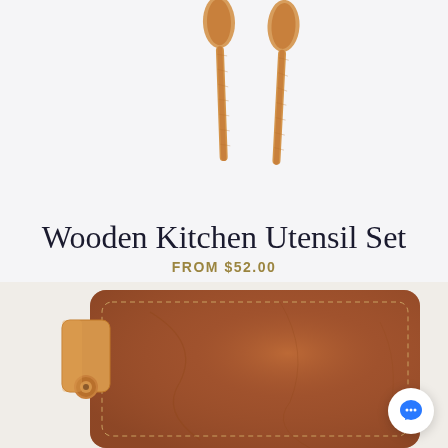[Figure (photo): Two wooden kitchen utensils (spatula/spreader handles) photographed from above on a white background, showing the wooden grain and warm amber color.]
Wooden Kitchen Utensil Set
FROM $52.00
[Figure (photo): A brown leather pouch or portfolio with a tan leather strap/clasp on the left side, featuring visible stitching along the edges on a light background.]